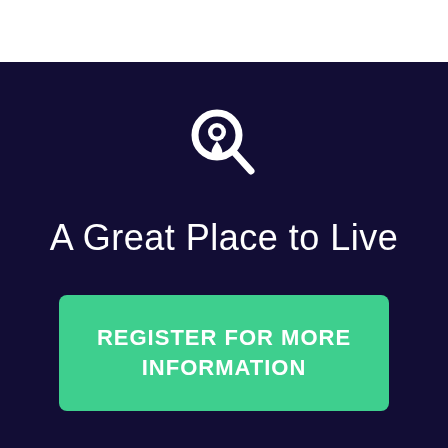[Figure (logo): Magnifying glass with a location pin icon, white on dark navy background]
A Great Place to Live
REGISTER FOR MORE INFORMATION